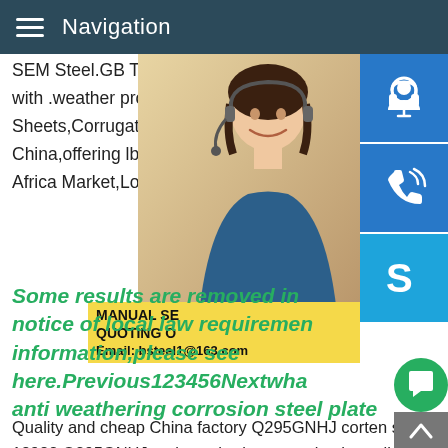Navigation
SEM Steel.GB T 18982 Q295GNHJ weath with .weather proof.2 lbr Roof Sheet,Africa Sheets,Corrugated Roofing Sheet manufa China,offering lbr and Corrugated Roof Sh Africa Market,Low Price Zinc Coated Floor
[Figure (photo): Woman with headset smiling, customer service representative with blue icon buttons on right side (headset icon, phone icon, Skype icon)]
Some results are removed in notice of local law requirements. For more information,please see here.Previous123456Nextwhat is anti weathering corrosion steel plate
MANUAL SE QUOTING O Email: bsteel1@163.com
Quality and cheap China factory Q295GNHJ corten steel .GB T 18982 Q295GNHJ anti weathering corrosion hot rolled BBN Steel mainly export GB T 18982 Q295GNHJ anti weathering corrosi hot rolled steel sheet tolerance,Corten A,A588 Grade A,A588 Grade B,A588 Grade C,A588 Grade